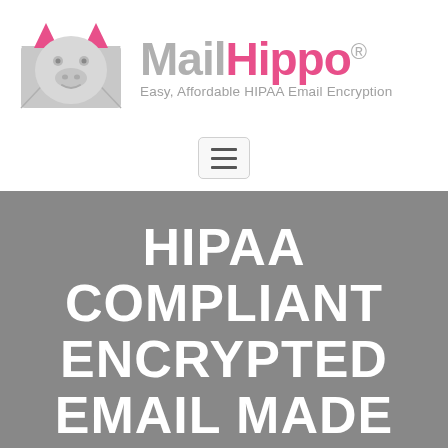[Figure (logo): MailHippo logo: hippo face inside a gray envelope, pink ears and details]
MailHippo® — Easy, Affordable HIPAA Email Encryption
[Figure (other): Hamburger/navigation menu icon button]
HIPAA COMPLIANT ENCRYPTED EMAIL MADE EASY & AFFORDABLE!
MailHippo® is the easiest way to securely send and receive sensitive